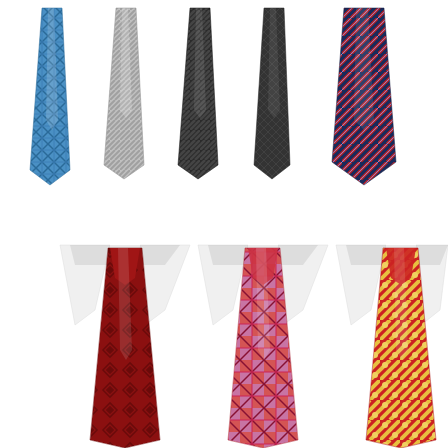[Figure (illustration): Collection of eight neckties in two rows. Top row: five ties without collars — blue plaid, gray diagonal stripe, black diagonal stripe, dark charcoal/black small grid pattern, navy with red diagonal stripes. Bottom row: three ties with white shirt collars — dark red with diamond/fleur-de-lis pattern, red/pink/purple plaid check, red with gold diagonal stripes and polka dots.]